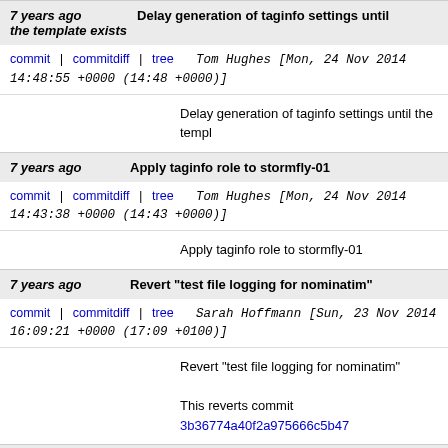7 years ago | Delay generation of taginfo settings until the template exists
commit | commitdiff | tree   Tom Hughes [Mon, 24 Nov 2014 14:48:55 +0000 (14:48 +0000)]
Delay generation of taginfo settings until the templ
7 years ago | Apply taginfo role to stormfly-01
commit | commitdiff | tree   Tom Hughes [Mon, 24 Nov 2014 14:43:38 +0000 (14:43 +0000)]
Apply taginfo role to stormfly-01
7 years ago | Revert "test file logging for nominatim"
commit | commitdiff | tree   Sarah Hoffmann [Sun, 23 Nov 2014 16:09:21 +0000 (17:09 +0100)]
Revert "test file logging for nominatim"

This reverts commit 3b36774a40f2a975666c5b47
7 years ago | test file logging for nominatim
commit | commitdiff | tree   Sarah Hoffmann [Sun, 23 Nov 2014